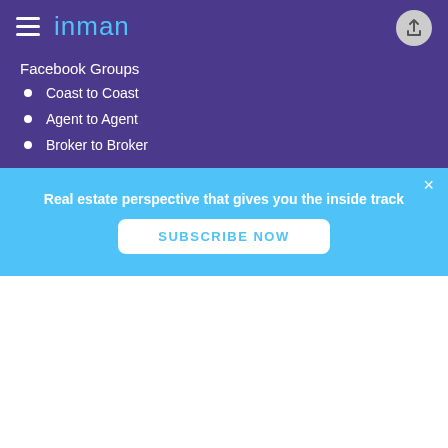inman
Facebook Groups
Coast to Coast
Agent to Agent
Broker to Broker
Real estate perspective that gives you the inside track
SUBSCRIBE NOW